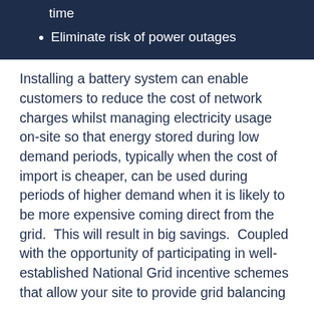time
Eliminate risk of power outages
Installing a battery system can enable customers to reduce the cost of network charges whilst managing electricity usage on-site so that energy stored during low demand periods, typically when the cost of import is cheaper, can be used during periods of higher demand when it is likely to be more expensive coming direct from the grid.  This will result in big savings.  Coupled with the opportunity of participating in well-established National Grid incentive schemes that allow your site to provide grid balancing